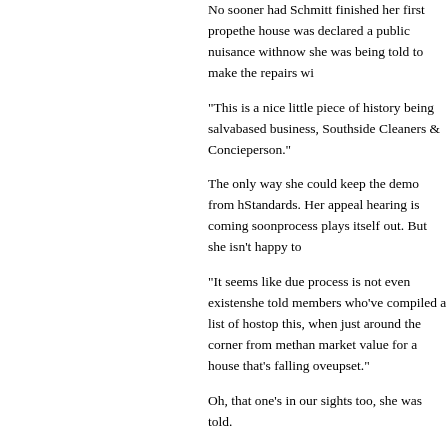No sooner had Schmitt finished her first prope... the house was declared a public nuisance with... now she was being told to make the repairs wi...
"This is a nice little piece of history being salva... based business, Southside Cleaners & Concie... person."
The only way she could keep the demo from h... Standards. Her appeal hearing is coming soon... process plays itself out. But she isn't happy to...
"It seems like due process is not even existen... she told members who've compiled a list of ho... stop this, when just around the corner from me... than market value for a house that's falling ove... upset."
Oh, that one's in our sights too, she was told.
Tom Bell was incensed enough to file a lawsui... developer and owner of the Flying Monkey wo... appeal was filed, Bell was reaching out for any... Jefferson Avenue pub. He'd planned on revam... the same thing that happened to Schmitt happ... wrote, complaining of "a complete and flagra...